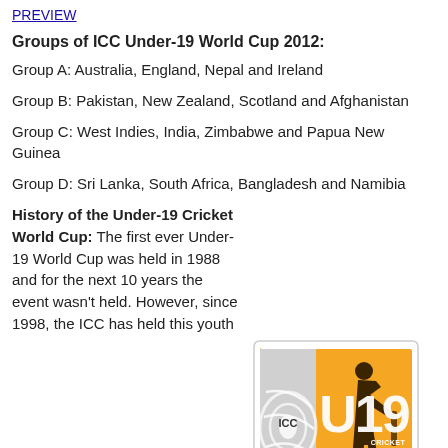PREVIEW
Groups of ICC Under-19 World Cup 2012:
Group A: Australia, England, Nepal and Ireland
Group B: Pakistan, New Zealand, Scotland and Afghanistan
Group C: West Indies, India, Zimbabwe and Papua New Guinea
Group D: Sri Lanka, South Africa, Bangladesh and Namibia
History of the Under-19 Cricket World Cup: The first ever Under-19 World Cup was held in 1988 and for the next 10 years the event wasn't held. However, since 1998, the ICC has held this youth World Cup every two years. The last edition of the Under-19 World Cup was held in New Zealand in 2010 and was won by
[Figure (logo): ICC Under-19 Cricket World Cup Australia 2012 logo - orange and white badge shape with silver ICC cricket ball logo on left, orange background with silhouette of cricket batsman, text 'ICC U19 CRICKET WORLD CUP' and blue banner reading 'AUSTRALIA 2012']